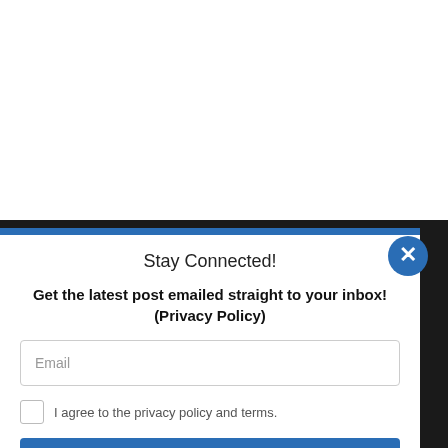Stay Connected!
Get the latest post emailed straight to your inbox! (Privacy Policy)
Email
I agree to the privacy policy and terms.
SUBSCRIBE